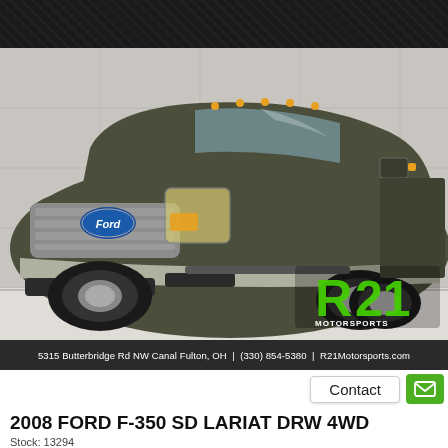[Figure (photo): Dark checkered header banner at top of dealership page]
[Figure (photo): 2008 Ford F-350 SD Lariat DRW 4WD dark olive/green truck facing front-left in dealership showroom with R21 Motorsports logo in lower right]
5315 Butterbridge Rd NW Canal Fulton, OH  |  (330) 854-5380  |  R21Motorsports.com
Contact
2008 FORD F-350 SD LARIAT DRW 4WD
Stock: 13294